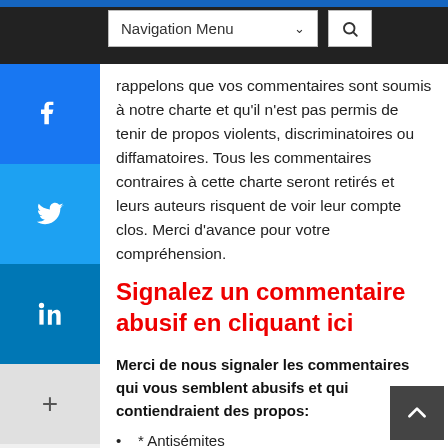Navigation Menu
rappelons que vos commentaires sont soumis à notre charte et qu'il n'est pas permis de tenir de propos violents, discriminatoires ou diffamatoires. Tous les commentaires contraires à cette charte seront retirés et leurs auteurs risquent de voir leur compte clos. Merci d'avance pour votre compréhension.
Signalez un commentaire abusif en cliquant ici
Merci de nous signaler les commentaires qui vous semblent abusifs et qui contiendraient des propos:
* Antisémites
* Racistes
* Homophobes
* Injurieux